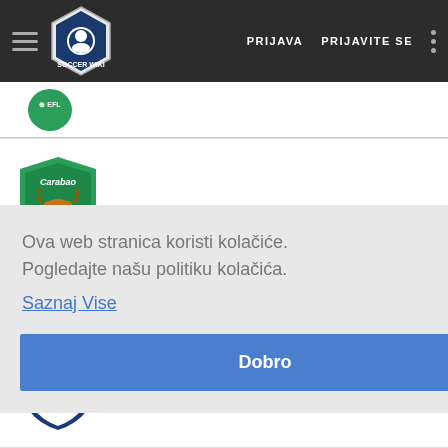Soccer Wiki | PRIJAVA  PRIJAVITE SE
[Figure (logo): Carabao Cup / EFL League Cup badge - green shield with bull]
LEAGUE CUP  2014
[Figure (logo): EFL CUP badge - white shield with blue border and stars, EFL CUP text]
FOOTBALL LEAGUE CUP  2014
Ova web stranica koristi kolačiće. Pogledajte našu politiku kolačića.
Saznaj Vise
Dobro